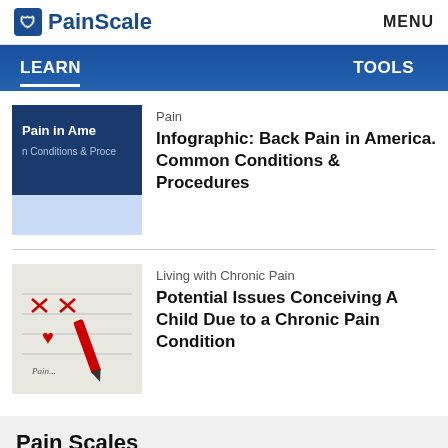PainScale  MENU
LEARN   TOOLS
[Figure (illustration): Thumbnail image showing book/infographic titled 'Pain in Ame[rica], n Conditions & Proc[edures]' with dark blue background]
Pain
Infographic: Back Pain in America. Common Conditions & Procedures
[Figure (photo): Thumbnail image showing a calendar with red X marks and a red pen/marker, suggesting tracking pain days]
Living with Chronic Pain
Potential Issues Conceiving A Child Due to a Chronic Pain Condition
Pain Scales
Pain scales and pain inventories are tools used by health care professionals to objectively assess pain. They can be used to gauge the level of either acute or chronic pain. Because pain is multifaceted and presents